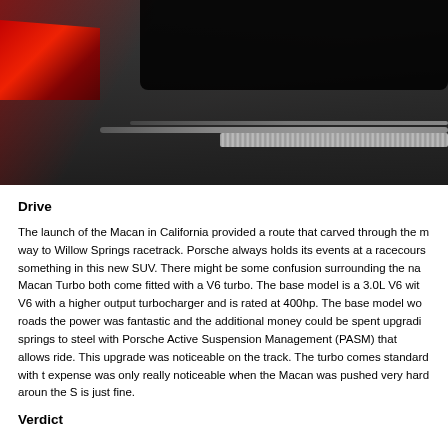[Figure (photo): Close-up photograph of the rear of a Porsche Macan SUV showing dark trunk area, chrome/textured strip, bumper detail, and red taillight on the left side. Vehicle is dark grey/charcoal color against a grey background.]
Drive
The launch of the Macan in California provided a route that carved through the mountains on the way to Willow Springs racetrack. Porsche always holds its events at a racecourse as there is always something in this new SUV. There might be some confusion surrounding the names; the Macan S and Macan Turbo both come fitted with a V6 turbo. The base model is a 3.0L V6 with the Turbo version of the V6 with a higher output turbocharger and is rated at 400hp. The base model would suffice on most roads the power was fantastic and the additional money could be spent upgrading from the air springs to steel with Porsche Active Suspension Management (PASM) that allows you to adjust the ride. This upgrade was noticeable on the track. The turbo comes standard with the PASM and the expense was only really noticeable when the Macan was pushed very hard around the track, for most the S is just fine.
Verdict